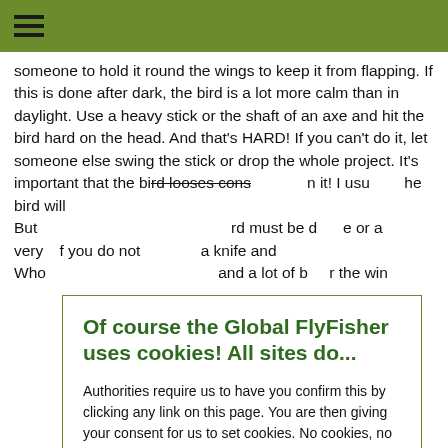☰
someone to hold it round the wings to keep it from flapping. If this is done after dark, the bird is a lot more calm than in daylight. Use a heavy stick or the shaft of an axe and hit the bird hard on the head. And that's HARD! If you can't do it, let someone else swing the stick or drop the whole project. It's important that the bird looses cons... an it! I usu... he bird will...
But ... rd must be d... e or a very ... f you do not ... a knife and...
Who... and a lot of b... r the win...
Of course the Global FlyFisher uses cookies! All sites do...
Authorities require us to have you confirm this by clicking any link on this page. You are then giving your consent for us to set cookies. No cookies, no GFF!
More about privacy and cookies
OK, I agree